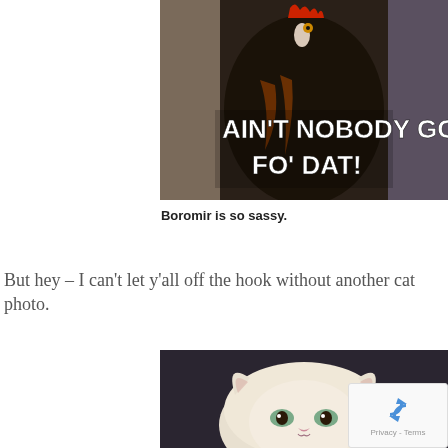[Figure (photo): Meme image of a rooster/chicken with bold white text overlay reading 'AIN'T NOBODY GOT TIME FO' DAT!']
Boromir is so sassy.
But hey – I can't let y'all off the hook without another cat photo.
[Figure (photo): Close-up photo of a fluffy white Persian/Exotic cat looking at camera]
[Figure (logo): reCAPTCHA badge with Privacy - Terms text]